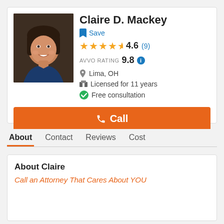[Figure (photo): Professional headshot of Claire D. Mackey, a woman with dark shoulder-length hair, smiling, wearing a dark blue top]
Claire D. Mackey
Save
4.6 (9)
AVVO RATING 9.8
Lima, OH
Licensed for 11 years
Free consultation
Call
Message
Website
About
Contact
Reviews
Cost
About Claire
Call an Attorney That Cares About YOU